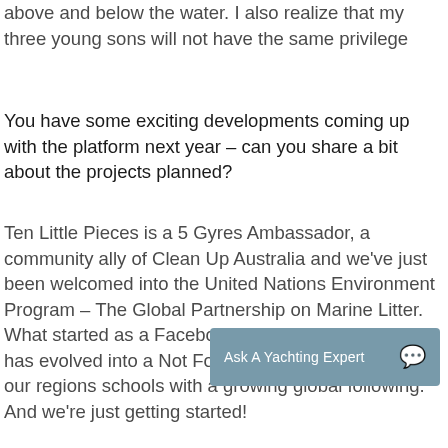above and below the water. I also realize that my three young sons will not have the same privilege
You have some exciting developments coming up with the platform next year – can you share a bit about the projects planned?
Ten Little Pieces is a 5 Gyres Ambassador, a community ally of Clean Up Australia and we've just been welcomed into the United Nations Environment Program – The Global Partnership on Marine Litter. What started as a Facebook group two years ago, has evolved into a Not For Profit Org... programs to our regions schools with a growing global following. And we're just getting started!
[Figure (other): A rounded rectangle overlay button labeled 'Ask A Yachting Expert' with a speech bubble icon on the right, in a muted blue-grey color (#789aaa)]